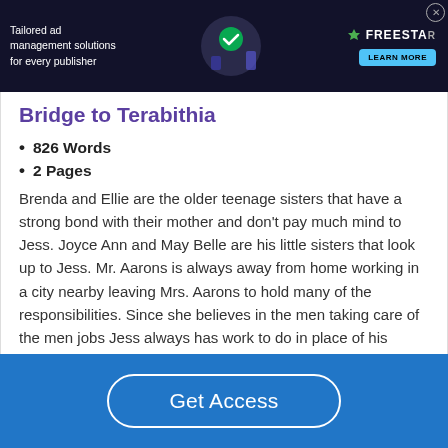[Figure (other): Advertisement banner with dark background showing 'Tailored ad management solutions for every publisher' text and Freestar logo with Learn More button]
Bridge to Terabithia
826 Words
2 Pages
Brenda and Ellie are the older teenage sisters that have a strong bond with their mother and don't pay much mind to Jess. Joyce Ann and May Belle are his little sisters that look up to Jess. Mr. Aarons is always away from home working in a city nearby leaving Mrs. Aarons to hold many of the responsibilities. Since she believes in the men taking care of the men jobs Jess always has work to do in place of his father. The girls never
Get Access